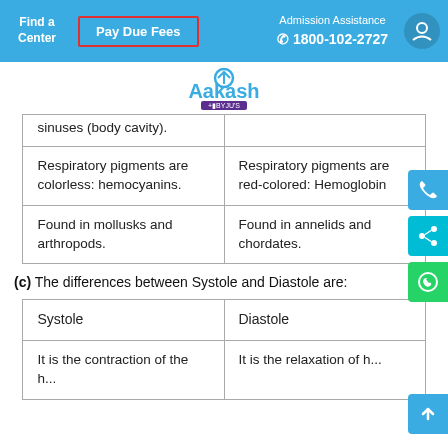Find a Center | Pay Due Fees | Admission Assistance 1800-102-2727
[Figure (logo): Aakash + BYJU'S logo]
|  |  |
| --- | --- |
| sinuses (body cavity). |  |
| Respiratory pigments are colorless: hemocyanins. | Respiratory pigments are red-colored: Hemoglobin |
| Found in mollusks and arthropods. | Found in annelids and chordates. |
(c) The differences between Systole and Diastole are:
| Systole | Diastole |
| --- | --- |
| It is the contraction of the... | It is the relaxation of the... |